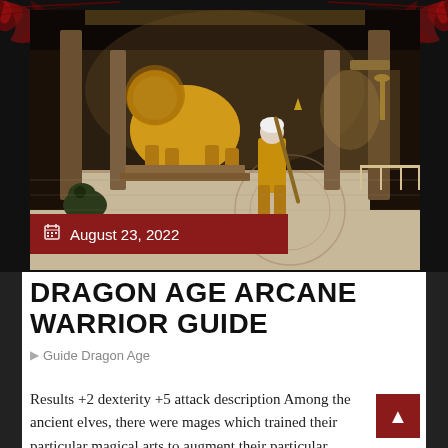[Figure (screenshot): Dragon Age game screenshot showing a golden armored character holding a staff in a grand ornate hall with a large golden lion statue and marble columns]
August 23, 2022
DRAGON AGE ARCANE WARRIOR GUIDE
Guide Dragon Age
Results +2 dexterity +5 attack description Among the ancient elves, there were mages which trained their particular magical arts to augment their particular